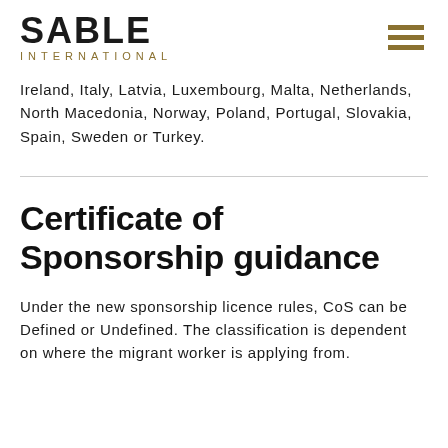SABLE INTERNATIONAL
Ireland, Italy, Latvia, Luxembourg, Malta, Netherlands, North Macedonia, Norway, Poland, Portugal, Slovakia, Spain, Sweden or Turkey.
Certificate of Sponsorship guidance
Under the new sponsorship licence rules, CoS can be Defined or Undefined. The classification is dependent on where the migrant worker is applying from.